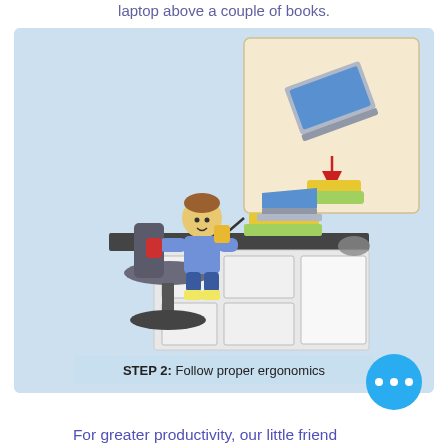laptop above a couple of books.
[Figure (illustration): LEGO-style illustration showing a person sitting at a desk with a laptop placed on top of two stacked books. An inset box in the upper right shows a detail: a laptop with a red arrow pointing down to two stacked books (yellow and green). A black arrow points from the inset to the main scene. Caption at bottom reads 'STEP 2: Follow proper ergonomics'.]
STEP 2: Follow proper ergonomics
For greater productivity, our little friend